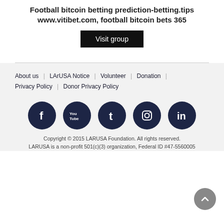Football bitcoin betting prediction-betting.tips www.vitibet.com, football bitcoin bets 365
Visit group
About us | LArUSA Notice | Volunteer | Donation | Privacy Policy | Donor Privacy Policy
[Figure (other): Social media icons: Facebook, YouTube, Tumblr, Instagram, LinkedIn — dark navy circular icons]
Copyright © 2015 LARUSA Foundation. All rights reserved. LARUSA is a non-profit 501(c)(3) organization, Federal ID #47-5560005